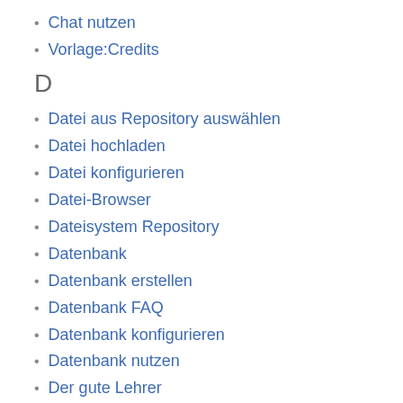Chat nutzen
Vorlage:Credits
D
Datei aus Repository auswählen
Datei hochladen
Datei konfigurieren
Datei-Browser
Dateisystem Repository
Datenbank
Datenbank erstellen
Datenbank FAQ
Datenbank konfigurieren
Datenbank nutzen
Der gute Lehrer
Dropbox Repository
E